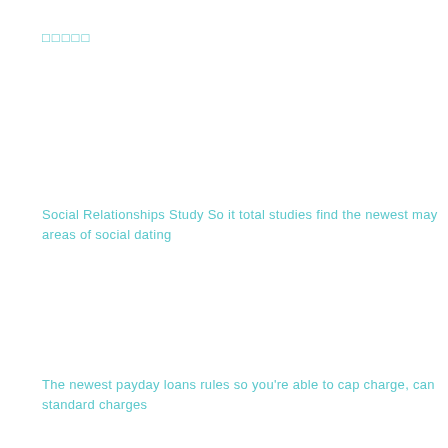□□□□□
Social Relationships Study So it total studies find the newest may areas of social dating
The newest payday loans rules so you're able to cap charge, can standard charges